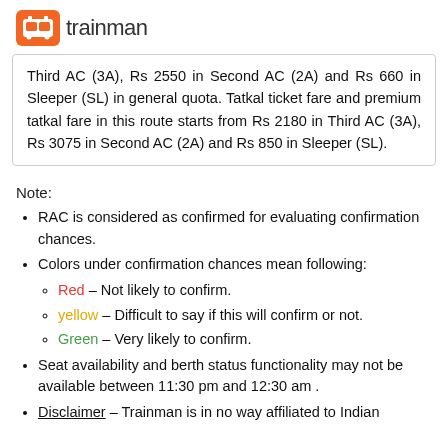trainman
Third AC (3A), Rs 2550 in Second AC (2A) and Rs 660 in Sleeper (SL) in general quota. Tatkal ticket fare and premium tatkal fare in this route starts from Rs 2180 in Third AC (3A), Rs 3075 in Second AC (2A) and Rs 850 in Sleeper (SL).
Note:
RAC is considered as confirmed for evaluating confirmation chances.
Colors under confirmation chances mean following:
Red – Not likely to confirm.
yellow – Difficult to say if this will confirm or not.
Green – Very likely to confirm.
Seat availability and berth status functionality may not be available between 11:30 pm and 12:30 am .
Disclaimer – Trainman is in no way affiliated to Indian